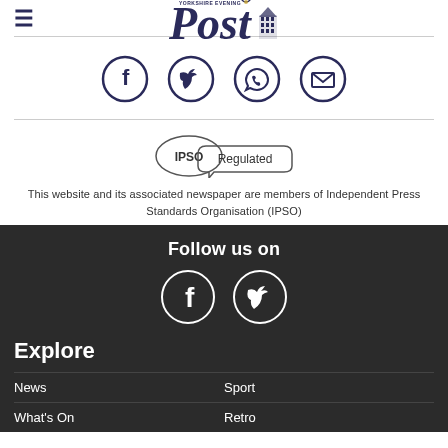[Figure (logo): Yorkshire Evening Post newspaper logo with 'Post' text and decorative emblem]
[Figure (infographic): Social share icons: Facebook, Twitter, WhatsApp, Email in dark blue circles]
[Figure (logo): IPSO Regulated badge/seal]
This website and its associated newspaper are members of Independent Press Standards Organisation (IPSO)
Follow us on
[Figure (infographic): Facebook and Twitter icons in white circles on dark background]
Explore
News
Sport
What's On
Retro